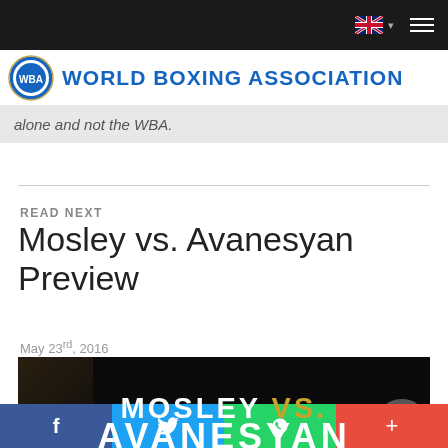World Boxing Association
alone and not the WBA.
READ NEXT
Mosley vs. Avanesyan Preview
May 23rd, 2016
[Figure (photo): Promotional image for Mosley vs. Avanesyan boxing event. Text reads: MOSLEY VS. AVANESYAN / USA TAKES ON RUSSIA / SAT. MAY 28, 2016. Two boxers visible on left and right sides against black background.]
f  [Twitter bird]  [WhatsApp]  +